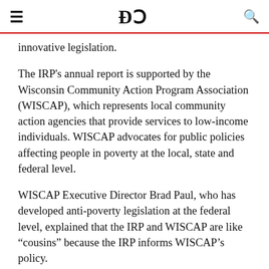DC
innovative legislation.
The IRP's annual report is supported by the Wisconsin Community Action Program Association (WISCAP), which represents local community action agencies that provide services to low-income individuals. WISCAP advocates for public policies affecting people in poverty at the local, state and federal level.
WISCAP Executive Director Brad Paul, who has developed anti-poverty legislation at the federal level, explained that the IRP and WISCAP are like “cousins” because the IRP informs WISCAP’s policy.
“The main reason [the report] is valuable for us is that it includes the value of benefits in one’s household income. Why that’s important is it shows that anti-poverty